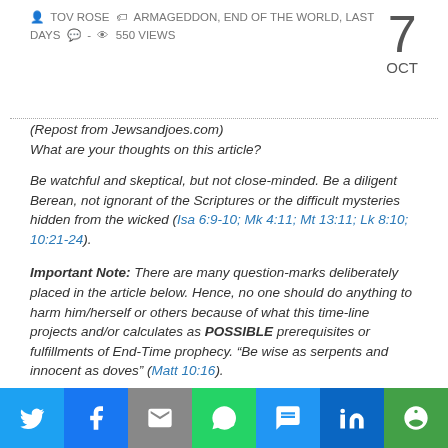TOV ROSE  ARMAGEDDON, END OF THE WORLD, LAST DAYS  -  550 VIEWS
(Repost from Jewsandjoes.com)
What are your thoughts on this article?
Be watchful and skeptical, but not close-minded. Be a diligent Berean, not ignorant of the Scriptures or the difficult mysteries hidden from the wicked (Isa 6:9-10; Mk 4:11; Mt 13:11; Lk 8:10; 10:21-24).
Important Note: There are many question-marks deliberately placed in the article below. Hence, no one should do anything to harm him/herself or others because of what this time-line projects and/or calculates as POSSIBLE prerequisites or fulfillments of End-Time prophecy. “Be wise as serpents and innocent as doves” (Matt 10:16).